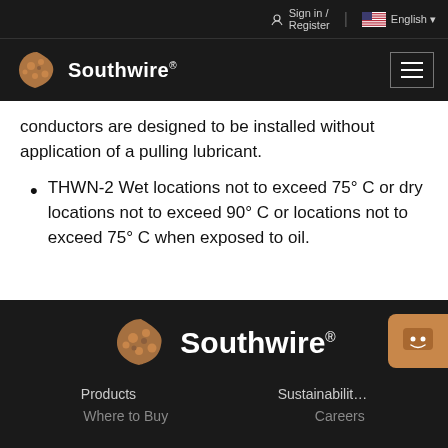Sign in / Register | English
[Figure (logo): Southwire logo with circular emblem in top navigation bar]
conductors are designed to be installed without application of a pulling lubricant.
THWN-2 Wet locations not to exceed 75° C or dry locations not to exceed 90° C or locations not to exceed 75° C when exposed to oil.
[Figure (logo): Southwire footer logo with larger circular emblem on dark background]
Products | Sustainability | Where to Buy | Careers